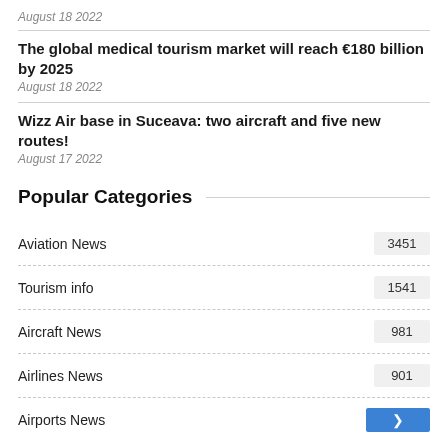August 18 2022
The global medical tourism market will reach €180 billion by 2025
August 18 2022
Wizz Air base in Suceava: two aircraft and five new routes!
August 17 2022
Popular Categories
Aviation News 3451
Tourism info 1541
Aircraft News 981
Airlines News 901
Airports News